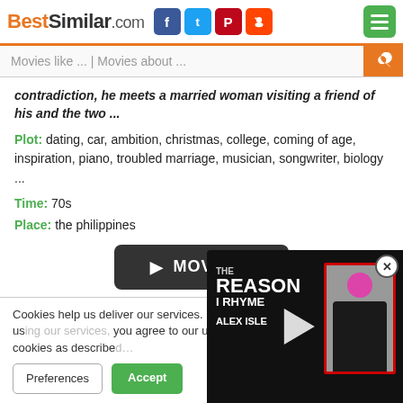BestSimilar.com
Movies like ... | Movies about ...
contradiction, he meets a married woman visiting a friend of his and the two ...
Plot: dating, car, ambition, christmas, college, coming of age, inspiration, piano, troubled marriage, musician, songwriter, biology ...
Time: 70s
Place: the philippines
[Figure (other): Movie play button (dark rounded rectangle with play arrows and MOVIE text)]
↓ similar
Cookies help us deliver our services. By us... you agree to our use of cookies as describe...
[Figure (screenshot): Video overlay showing 'THE REASON I RHYME - ALEX ISLE' with thumbnail of person in dark clothing]